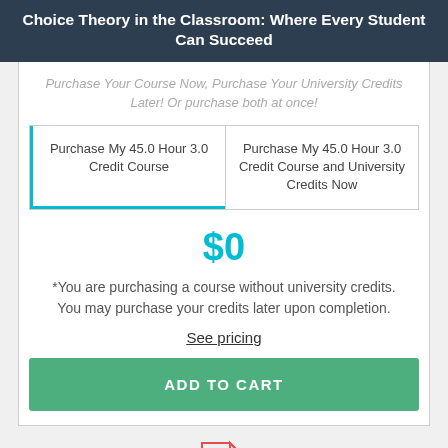Choice Theory in the Classroom: Where Every Student Can Succeed
Purchase Your Course Now, Purchase Your University Credits Later! Or purchase both at once!
| Purchase My 45.0 Hour 3.0 Credit Course | Purchase My 45.0 Hour 3.0 Credit Course and University Credits Now |
$0
*You are purchasing a course without university credits. You may purchase your credits later upon completion.
See pricing
ADD TO CART